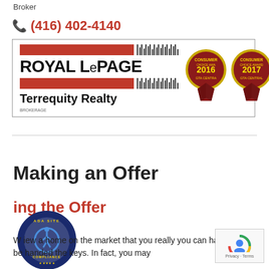Broker
(416) 402-4140
[Figure (logo): Royal LePage Terrequity Realty logo with Consumer Choice Award medals for 2016 and 2017, GTA Central]
Making an Offer
ing the Offer
W iew a home on the market that you really you can hardly wait to be handed the keys. In fact, you may